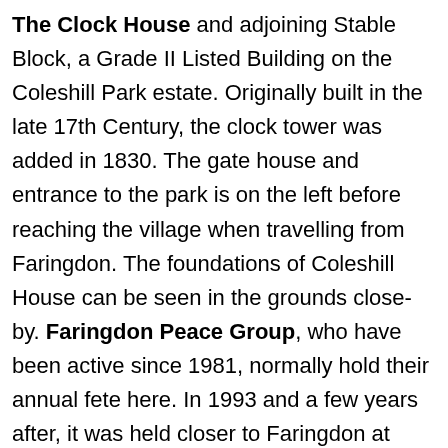The Clock House and adjoining Stable Block, a Grade II Listed Building on the Coleshill Park estate. Originally built in the late 17th Century, the clock tower was added in 1830. The gate house and entrance to the park is on the left before reaching the village when travelling from Faringdon. The foundations of Coleshill House can be seen in the grounds close-by. Faringdon Peace Group, who have been active since 1981, normally hold their annual fete here. In 1993 and a few years after, it was held closer to Faringdon at Colleymore Farm. Among the special attractions that year was a novel series of ‘parachute games’ [Page Search ...] [Find] and adults in all kinds of